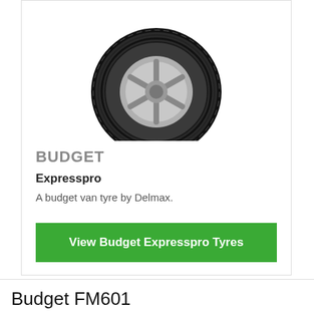[Figure (photo): A grayscale photograph of a van tyre (Budget Expresspro by Delmax), showing tread pattern and alloy wheel, partially cropped at the top.]
BUDGET
Expresspro
A budget van tyre by Delmax.
View Budget Expresspro Tyres
Budget FM601